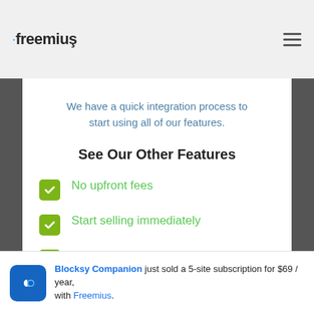freemius — Sign Up
We have a quick integration process to start using all of our features.
See Our Other Features
No upfront fees
Start selling immediately
Fully managed eCommerce solution
Blocksy Companion just sold a 5-site subscription for $69 / year, with Freemius.